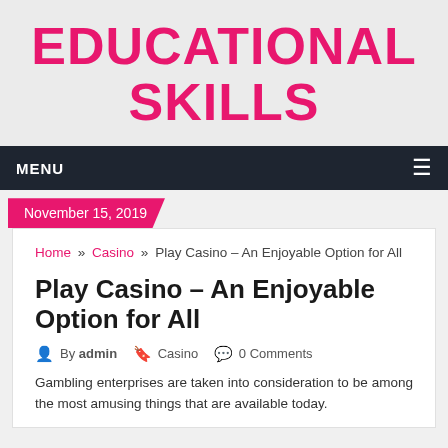EDUCATIONAL SKILLS
MENU
November 15, 2019
Home » Casino » Play Casino – An Enjoyable Option for All
Play Casino – An Enjoyable Option for All
By admin   Casino   0 Comments
Gambling enterprises are taken into consideration to be among the most amusing things that are available today.